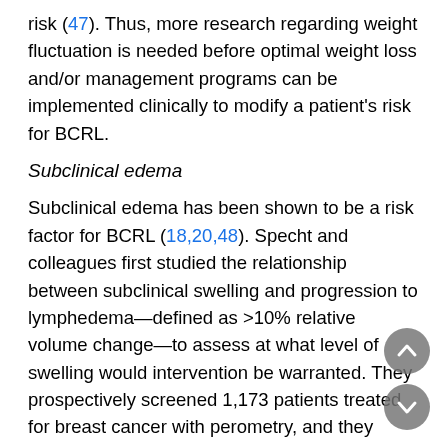risk (47). Thus, more research regarding weight fluctuation is needed before optimal weight loss and/or management programs can be implemented clinically to modify a patient's risk for BCRL.
Subclinical edema
Subclinical edema has been shown to be a risk factor for BCRL (18,20,48). Specht and colleagues first studied the relationship between subclinical swelling and progression to lymphedema—defined as >10% relative volume change—to assess at what level of swelling would intervention be warranted. They prospectively screened 1,173 patients treated for breast cancer with perometry, and they found small increases in arm volume (≥3% but <5%) as well as larger increases in arm volume (≥3% but <10%) within 3 months of surgery increased BCRL risk. After the third postoperative month, only larger increases in arm volume (≥5% but <10%) were correlated with increased BCRL incidence (48). Additionally, in their large cohort screened prospectively with BIS, Kilbreath and colleagues found that, for women with five or more